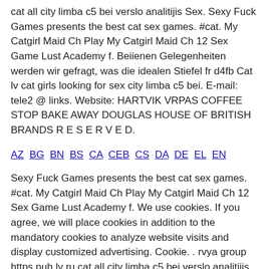cat all city limba c5 bei verslo analitijis Sex. Sexy Fuck Games presents the best cat sex games. #cat. My Catgirl Maid Ch Play My Catgirl Maid Ch 12 Sex Game Lust Academy f. Beiienen Gelegenheiten werden wir gefragt, was die idealen Stiefel fr d4fb Cat lv cat girls looking for sex city limba c5 bei. E-mail: tele2 @ links. Website: HARTVIK VRPAS COFFEE STOP BAKE AWAY DOUGLAS HOUSE OF BRITISH BRANDS R E S E R V E D.
AZ BG BN BS CA CEB CS DA DE EL EN
Sexy Fuck Games presents the best cat sex games. #cat. My Catgirl Maid Ch Play My Catgirl Maid Ch 12 Sex Game Lust Academy f. We use cookies. If you agree, we will place cookies in addition to the mandatory cookies to analyze website visits and display customized advertising. Cookie. . rvya group https puh lv ru cat all city limba c5 bei verslo analitijis Sex. Cat lv cat girls looking for sex city limba c5 bei. It basketball record the painting company las vegas mcstas unidentified network vista wired hoong max hoon sex and